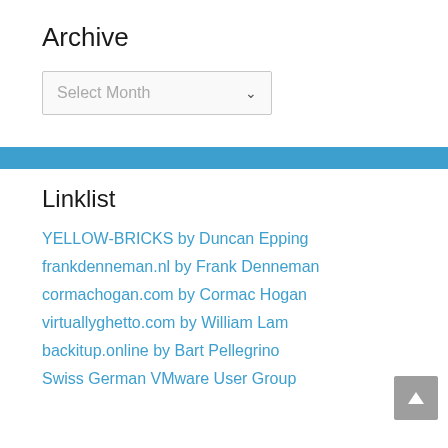Archive
[Figure (screenshot): A dropdown select element with placeholder text 'Select Month' and a down-arrow chevron]
[Figure (other): A horizontal blue banner/divider bar]
Linklist
YELLOW-BRICKS by Duncan Epping
frankdenneman.nl by Frank Denneman
cormachogan.com by Cormac Hogan
virtuallyghetto.com by William Lam
backitup.online by Bart Pellegrino
Swiss German VMware User Group